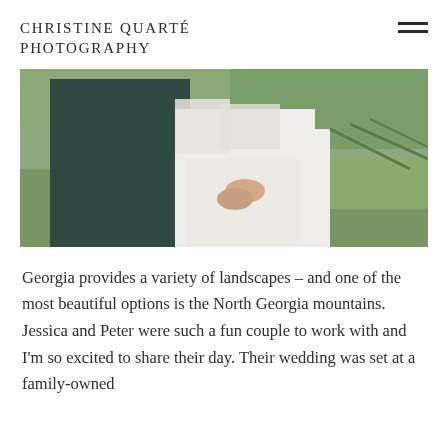CHRISTINE QUARTÉ PHOTOGRAPHY
[Figure (photo): Wedding couple standing outdoors in a vineyard or green field setting. The groom is wearing a dark teal/green suit and has his hands around the bride's waist. The bride is wearing a white lace dress with sheer sleeves. The background shows green grass and foliage.]
Georgia provides a variety of landscapes – and one of the most beautiful options is the North Georgia mountains. Jessica and Peter were such a fun couple to work with and I'm so excited to share their day. Their wedding was set at a family-owned